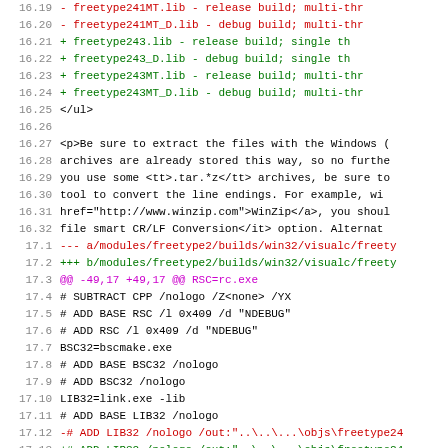Code diff view showing freetype library changes and build configuration lines 16.19 through 17.18